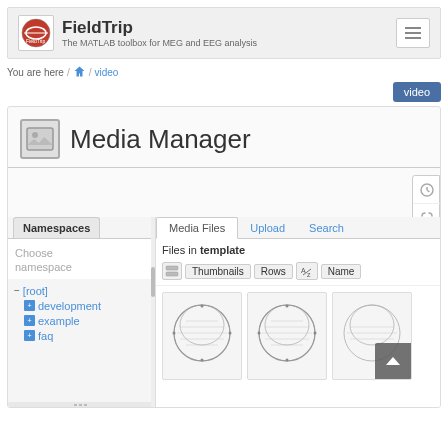FieldTrip — The MATLAB toolbox for MEG and EEG analysis
You are here / home / video
video
Media Manager
Namespaces
Choose namespace
− [root]
+ development
+ example
+ faq
Media Files | Upload | Search
Files in template
[Figure (screenshot): Thumbnails of EEG head topology images in the media manager grid]